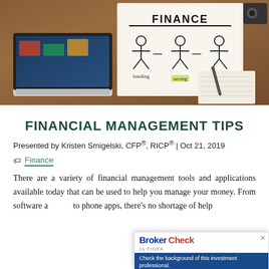[Figure (photo): Top-down photo of a person writing on a notepad next to a laptop, with a whiteboard showing 'FINANCE' and illustrations of funding, saving, and benefit concepts]
FINANCIAL MANAGEMENT TIPS
Presented by Kristen Smigelski, CFP®, RICP® | Oct 21, 2019
Finance
There are a variety of financial management tools and applications available today that can be used to help you manage your money. From software applications to phone apps, there's no shortage of help
[Figure (logo): BrokerCheck by FINRA badge with text: Check the background of this investment professional.]